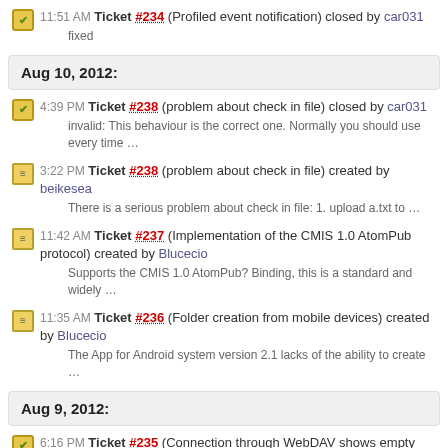11:51 AM Ticket #234 (Profiled event notification) closed by car031 fixed
Aug 10, 2012:
4:39 PM Ticket #238 (problem about check in file) closed by car031 invalid: This behaviour is the correct one. Normally you should use every time ...
3:22 PM Ticket #238 (problem about check in file) created by beikesea There is a serious problem about check in file: 1. upload a.txt to ...
11:42 AM Ticket #237 (Implementation of the CMIS 1.0 AtomPub protocol) created by Blucecio Supports the CMIS 1.0 AtomPub? Binding, this is a standard and widely ...
11:35 AM Ticket #236 (Folder creation from mobile devices) created by Blucecio The App for Android system version 2.1 lacks of the ability to create ...
Aug 9, 2012:
6:16 PM Ticket #235 (Connection through WebDAV shows empty folder) closed by car031 fixed: To solve the problem do as follows: 1. Download the patch.zip 2. ...